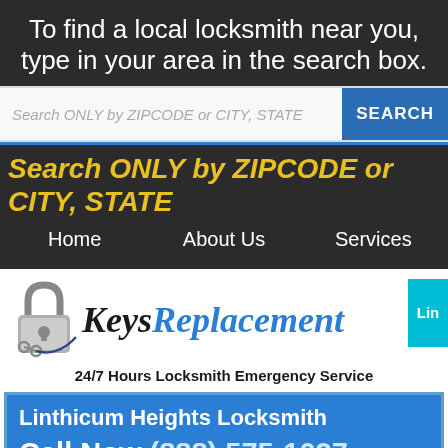To find a local locksmith near you, type in your area in the search box.
Search ONLY by ZIPCODE or CITY, STATE
SEARCH
Search ONLY by ZIPCODE or CITY, STATE
Home   About Us   Services
[Figure (logo): KeysReplacement logo with padlock icon. 'Keys' in black italic serif, 'Replacement' in blue italic serif.]
Lin
24/7 Hours Locksmith Emergency Service
Linthicum Heights Locksmith
Call Now (888) 575-1027
Local Locksmith in Linthicum Heig